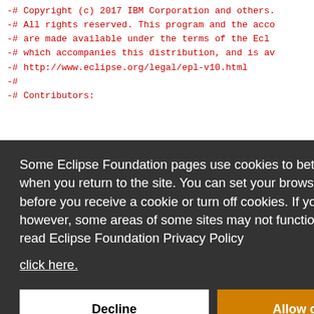-# All rights reserved. This program and the acco
-# are made available under the terms of the Ecl
-# which accompanies this distribution, and is av
-# http://www.eclipse.org/legal/epl-v10.html
-#
-# Contributors:
Some Eclipse Foundation pages use cookies to better serve you when you return to the site. You can set your browser to notify you before you receive a cookie or turn off cookies. If you do so, however, some areas of some sites may not function properly. To read Eclipse Foundation Privacy Policy
click here.
Decline
Allow cookies
-visit http://www.eclipse.org/cdt